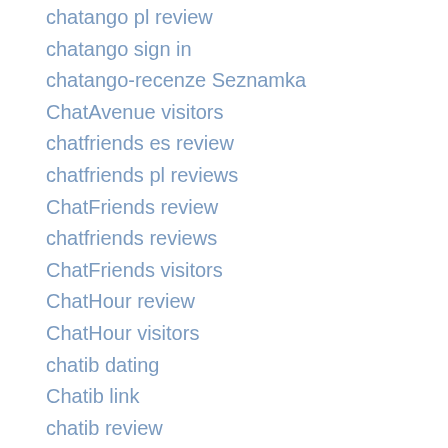chatango pl review
chatango sign in
chatango-recenze Seznamka
ChatAvenue visitors
chatfriends es review
chatfriends pl reviews
ChatFriends review
chatfriends reviews
ChatFriends visitors
ChatHour review
ChatHour visitors
chatib dating
Chatib link
chatib review
Chatib visitors
chatib-inceleme review
chatib-inceleme visitors
chatiw free dating apps